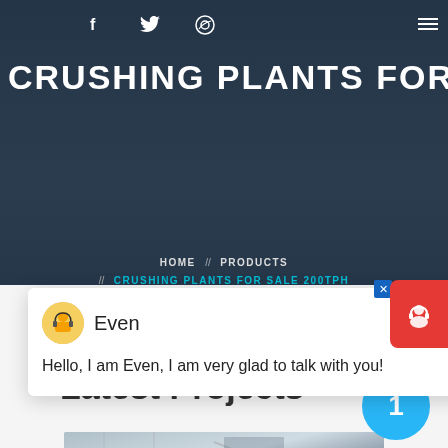f  (twitter)  (dribbble)  ≡
CRUSHING PLANTS FOR SALE 2...
HOME // PRODUCTS // CRUSHING PLANTS FOR SALE 200TPH
[Figure (screenshot): Chat widget popup with avatar labeled 'Even' and message: Hello, I am Even, I am very glad to talk with you!]
[Figure (illustration): Red support/chat button on right side with headphone icon and blue X close button]
Latest Projects
[Figure (photo): Industrial crushing plant machinery photograph]